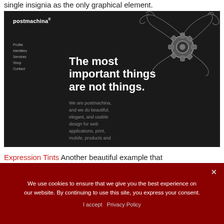single insignia as the only graphical element.
[Figure (screenshot): Screenshot of the postmachina website showing a dark (near-black) background with the postmachina logo in the top-left, a navigation menu listing Profile, Identities, Services, Shop, Contact, a decorative gear/cog insignia in gray in the upper-right, and large white bold headline text reading 'The most important things are not things.' followed by smaller gray body text beginning 'We are postmachina, and we do beautiful, elegant, and usable design for web applications, print, mobile, products and']
Expression Tints Another beautiful example that
We use cookies to ensure that we give you the best experience on our website. By continuing to use this site, you express your consent.
I accept  Privacy Policy